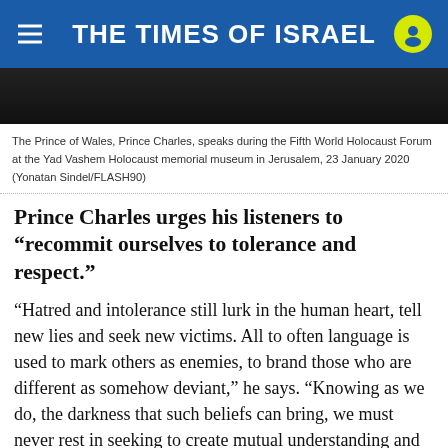THE TIMES OF ISRAEL
[Figure (photo): Partial photo of Prince Charles speaking at the Fifth World Holocaust Forum at Yad Vashem, dark background]
The Prince of Wales, Prince Charles, speaks during the Fifth World Holocaust Forum at the Yad Vashem Holocaust memorial museum in Jerusalem, 23 January 2020 (Yonatan Sindel/FLASH90)
Prince Charles urges his listeners to “recommit ourselves to tolerance and respect.”
“Hatred and intolerance still lurk in the human heart, tell new lies and seek new victims. All to often language is used to mark others as enemies, to brand those who are different as somehow deviant,” he says. “Knowing as we do, the darkness that such beliefs can bring, we must never rest in seeking to create mutual understanding and respect.”